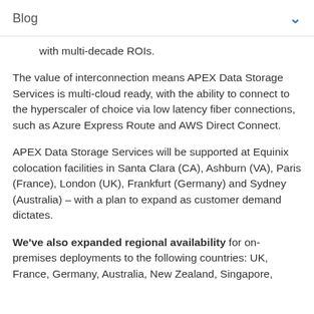Blog
with multi-decade ROIs.
The value of interconnection means APEX Data Storage Services is multi-cloud ready, with the ability to connect to the hyperscaler of choice via low latency fiber connections, such as Azure Express Route and AWS Direct Connect.
APEX Data Storage Services will be supported at Equinix colocation facilities in Santa Clara (CA), Ashburn (VA), Paris (France), London (UK), Frankfurt (Germany) and Sydney (Australia) – with a plan to expand as customer demand dictates.
We've also expanded regional availability for on-premises deployments to the following countries: UK, France, Germany, Australia, New Zealand, Singapore,